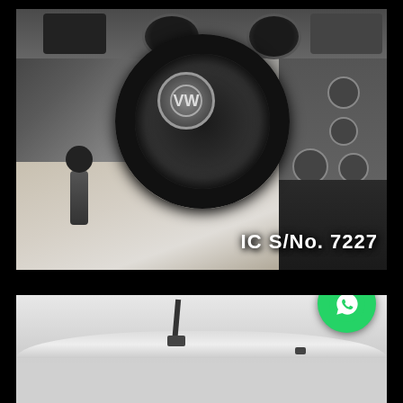[Figure (photo): Interior photo of a Volkswagen car showing the steering wheel with VW logo, dashboard with instrument cluster and controls on the right side, gear stick, and front seats. Text overlay reads 'IC S/No. 7227'.]
IC S/No. 7227
[Figure (photo): Exterior photo of a white Volkswagen car, showing the roof and upper body from above/side angle, with an antenna visible. A WhatsApp icon button overlays the top-right of this photo.]